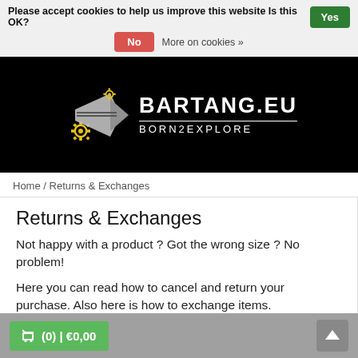Please accept cookies to help us improve this website Is this OK? Yes No More on cookies »
[Figure (logo): Bartang.eu Born2Explore logo with gear and arrow graphics on black background]
Home / Returns & Exchanges
Returns & Exchanges
Not happy with a product ? Got the wrong size ? No problem!
Here you can read how to cancel and return your purchase. Also here is how to exchange items.
(0) | €0,00